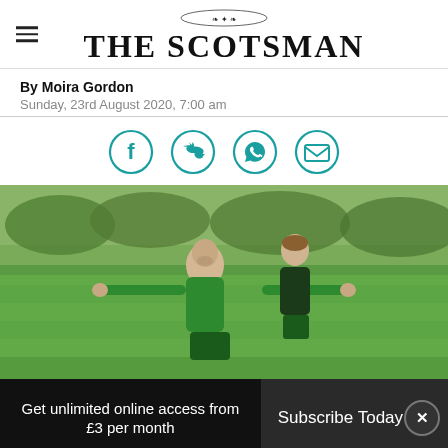THE SCOTSMAN
By Moira Gordon
Sunday, 23rd August 2020, 7:00 am
[Figure (infographic): Social sharing icons: Facebook, Twitter, WhatsApp, Email — teal circular outlined icons]
[Figure (photo): Two football players in green training kit on a grass pitch, one reaching arms out wide, other standing behind]
Get unlimited online access from £3 per month
Subscribe Today